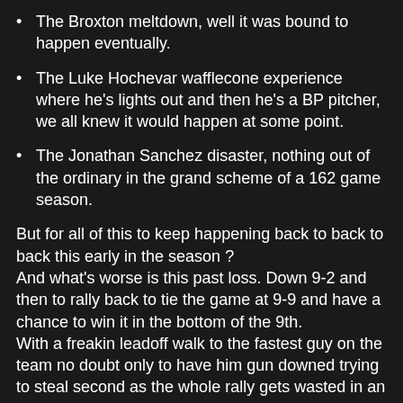The Broxton meltdown, well it was bound to happen eventually.
The Luke Hochevar wafflecone experience where he's lights out and then he's a BP pitcher, we all knew it would happen at some point.
The Jonathan Sanchez disaster, nothing out of the ordinary in the grand scheme of a 162 game season.
But for all of this to keep happening back to back to back this early in the season ?
And what's worse is this past loss. Down 9-2 and then to rally back to tie the game at 9-9 and have a chance to win it in the bottom of the 9th.
With a freakin leadoff walk to the fastest guy on the team no doubt only to have him gun downed trying to steal second as the whole rally gets wasted in an eventual loss.
And that's what bugs me the most.
Everyone on Twitter saying "great comeback".
Well I got news for you, it still counts as a loss.
And in my book a worse loss then just losing 9-2 getting the game over with and ready to go out tomorrow.